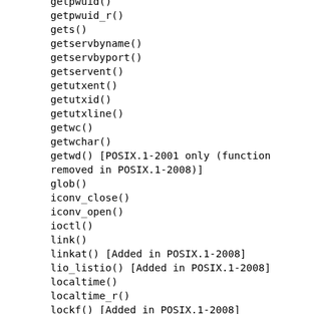getpwuid()
getpwuid_r()
gets()
getservbyname()
getservbyport()
getservent()
getutxent()
getutxid()
getutxline()
getwc()
getwchar()
getwd() [POSIX.1-2001 only (function removed in POSIX.1-2008)]
glob()
iconv_close()
iconv_open()
ioctl()
link()
linkat() [Added in POSIX.1-2008]
lio_listio() [Added in POSIX.1-2008]
localtime()
localtime_r()
lockf() [Added in POSIX.1-2008]